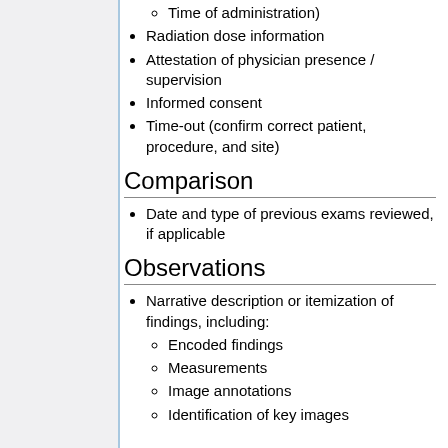Time of administration)
Radiation dose information
Attestation of physician presence / supervision
Informed consent
Time-out (confirm correct patient, procedure, and site)
Comparison
Date and type of previous exams reviewed, if applicable
Observations
Narrative description or itemization of findings, including:
Encoded findings
Measurements
Image annotations
Identification of key images